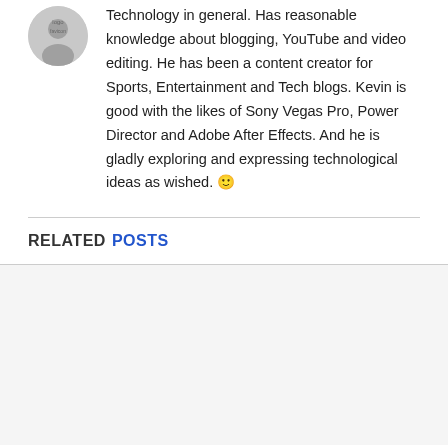[Figure (illustration): Circular avatar/profile image placeholder]
Technology in general. Has reasonable knowledge about blogging, YouTube and video editing. He has been a content creator for Sports, Entertainment and Tech blogs. Kevin is good with the likes of Sony Vegas Pro, Power Director and Adobe After Effects. And he is gladly exploring and expressing technological ideas as wished. 🙂
RELATED POSTS